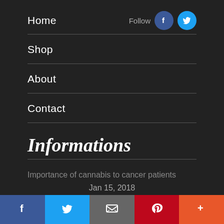Home   Follow
Shop
About
Contact
Informations
Importance of cannabis to cancer patients
Jan 15, 2018